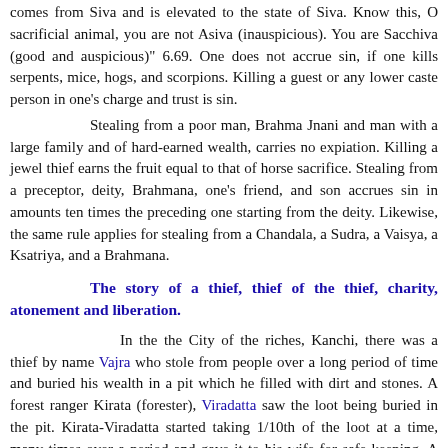comes from Siva and is elevated to the state of Siva. Know this, O sacrificial animal, you are not Asiva (inauspicious). You are Sacchiva (good and auspicious)" 6.69. One does not accrue sin, if one kills serpents, mice, hogs, and scorpions. Killing a guest or any lower caste person in one's charge and trust is sin.
Stealing from a poor man, Brahma Jnani and man with a large family and of hard-earned wealth, carries no expiation. Killing a jewel thief earns the fruit equal to that of horse sacrifice. Stealing from a preceptor, deity, Brahmana, one's friend, and son accrues sin in amounts ten times the preceding one starting from the deity. Likewise, the same rule applies for stealing from a Chandala, a Sudra, a Vaisya, a Ksatriya, and a Brahmana.
The story of a thief, thief of the thief, charity, atonement and liberation.
In the the City of the riches, Kanchi, there was a thief by name Vajra who stole from people over a long period of time and buried his wealth in a pit which he filled with dirt and stones. A forest ranger Kirata (forester), Viradatta saw the loot being buried in the pit. Kirata-Viradatta started taking 1/10th of the loot at a time, many times over a period and gave it to his wife for safe-keeping. A Brahmana passing by her house on a daily basis, told her one day that she would come by great wealth. The wealth does not stay with a